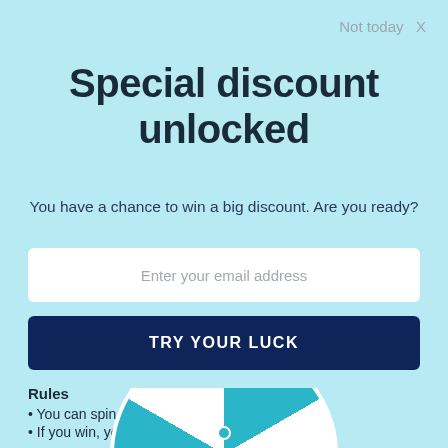Not today  X
Special discount unlocked
You have a chance to win a big discount. Are you ready?
Enter your email address
TRY YOUR LUCK
Rules
You can spin the wheel only once.
If you win, you can claim your coupon!
[Figure (illustration): Partial view of a spin wheel at the bottom of the page, teal and white segments visible]